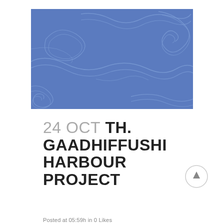[Figure (map): Blue topographic/bathymetric contour map showing wavy contour lines on a steel-blue background, representing the Gaadhiffushi Harbour area.]
24 OCT TH. GAADHIFFUSHI HARBOUR PROJECT
Posted at 05:59h in 0 Likes